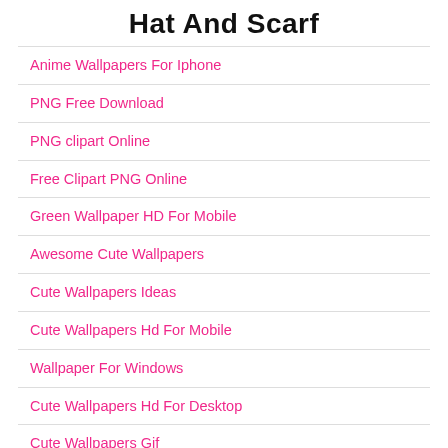Hat And Scarf
Anime Wallpapers For Iphone
PNG Free Download
PNG clipart Online
Free Clipart PNG Online
Green Wallpaper HD For Mobile
Awesome Cute Wallpapers
Cute Wallpapers Ideas
Cute Wallpapers Hd For Mobile
Wallpaper For Windows
Cute Wallpapers Hd For Desktop
Cute Wallpapers Gif